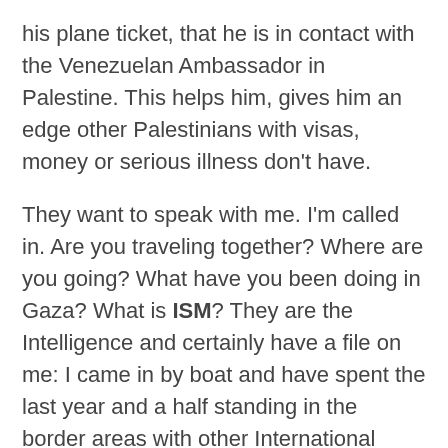his plane ticket, that he is in contact with the Venezuelan Ambassador in Palestine. This helps him, gives him an edge other Palestinians with visas, money or serious illness don't have.
They want to speak with me. I'm called in. Are you traveling together? Where are you going? What have you been doing in Gaza? What is ISM? They are the Intelligence and certainly have a file on me: I came in by boat and have spent the last year and a half standing in the border areas with other International solidarity activists (ISM), being shot at by Israeli soldiers because the farmers we are with are trying to access their land. …no matter how real it is and how many times I've written about it, it is so illegal and scandalous that it seems unbelievable when telling those who have no idea this happens… He tries to know more about